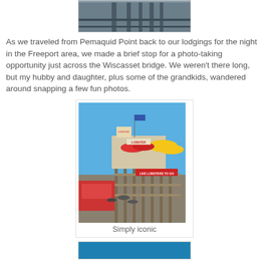[Figure (photo): Top portion of a photo showing a wooden dock/bridge structure from above, muted blue-grey tones]
As we traveled from Pemaquid Point back to our lodgings for the night in the Freeport area, we made a brief stop for a photo-taking opportunity just across the Wiscasset bridge. We weren't there long, but my hubby and daughter, plus some of the grandkids, wandered around snapping a few fun photos.
[Figure (photo): Outdoor lobster shack/restaurant scene with wooden fence railings in foreground, red and yellow market umbrellas, a sign reading 'LIVE LOBSTERS TO GO', blue sky background, and various seafood market signage]
Simply iconic
[Figure (photo): Bottom cropped photo, blue tones, partially visible]